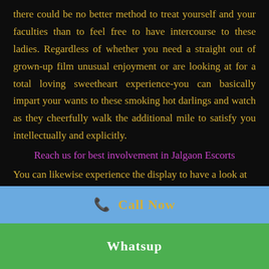there could be no better method to treat yourself and your faculties than to feel free to have intercourse to these ladies. Regardless of whether you need a straight out of grown-up film unusual enjoyment or are looking at for a total loving sweetheart experience-you can basically impart your wants to these smoking hot darlings and watch as they cheerfully walk the additional mile to satisfy you intellectually and explicitly.
Reach us for best involvement in Jalgaon Escorts
You can likewise experience the display to have a look at
📞  Call Now
Whatsup